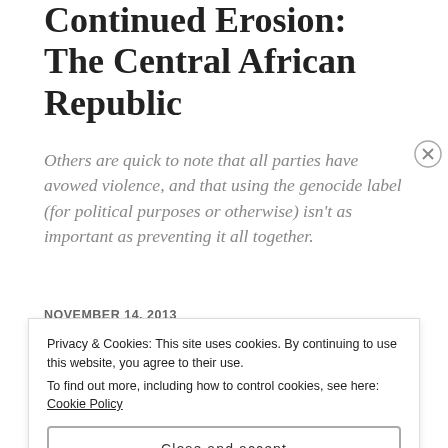Continued Erosion: The Central African Republic
Others are quick to note that all parties have avowed violence, and that using the genocide label (for political purposes or otherwise) isn't as important as preventing it all together.
NOVEMBER 14, 2013
ADAM MCCAULEY
LEAVE A COMMENT
Privacy & Cookies: This site uses cookies. By continuing to use this website, you agree to their use. To find out more, including how to control cookies, see here: Cookie Policy
Close and accept